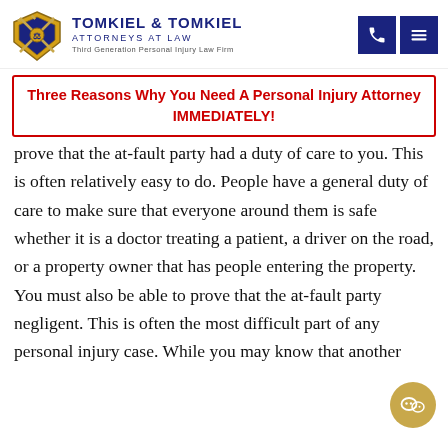Tomkiel & Tomkiel Attorneys At Law — Third Generation Personal Injury Law Firm
Three Reasons Why You Need A Personal Injury Attorney IMMEDIATELY!
prove that the at-fault party had a duty of care to you. This is often relatively easy to do. People have a general duty of care to make sure that everyone around them is safe whether it is a doctor treating a patient, a driver on the road, or a property owner that has people entering the property.
You must also be able to prove that the at-fault party negligent. This is often the most difficult part of any personal injury case. While you may know that another